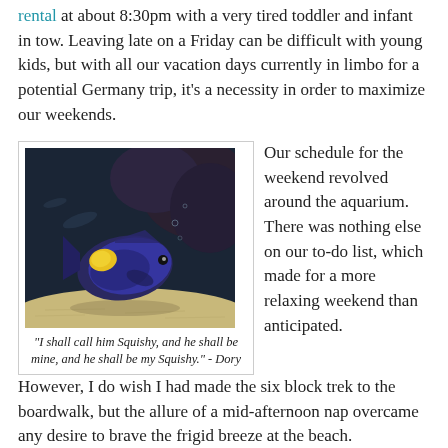rental at about 8:30pm with a very tired toddler and infant in tow. Leaving late on a Friday can be difficult with young kids, but with all our vacation days currently in limbo for a potential Germany trip, it's a necessity in order to maximize our weekends.
[Figure (photo): A dark blue/purple fish with a yellow patch swimming near a sandy ocean floor with rocks in the background, taken at an aquarium.]
"I shall call him Squishy, and he shall be mine, and he shall be my Squishy." - Dory
Our schedule for the weekend revolved around the aquarium. There was nothing else on our to-do list, which made for a more relaxing weekend than anticipated. However, I do wish I had made the six block trek to the boardwalk, but the allure of a mid-afternoon nap overcame any desire to brave the frigid breeze at the beach.
As for the aquarium itself, well, it was good, but not that good.